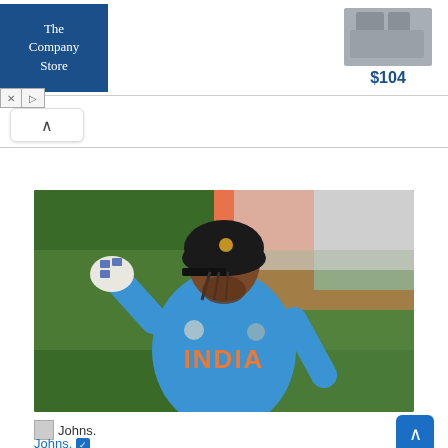[Figure (screenshot): Advertisement banner for The Company Store showing logo on left and a bedding product priced at $104 on the right]
[Figure (photo): Cricket player wearing India blue jersey with ICC Cricket World Cup logo, batting helmet, and gloves, raising his fist in celebration. Background shows Indian flag colors and crowd.]
Johns.
Johns. ✓